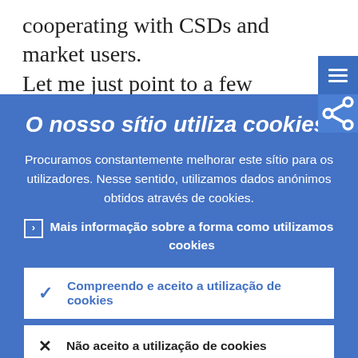cooperating with CSDs and market users.
Let me just point to a few elements of the economic impact study which you can find
O nosso sítio utiliza cookies.
Procuramos constantemente melhorar este sítio para os utilizadores. Nesse sentido, utilizamos dados anónimos obtidos através de cookies.
Mais informação sobre a forma como utilizamos cookies
Compreendo e aceito a utilização de cookies
Não aceito a utilização de cookies